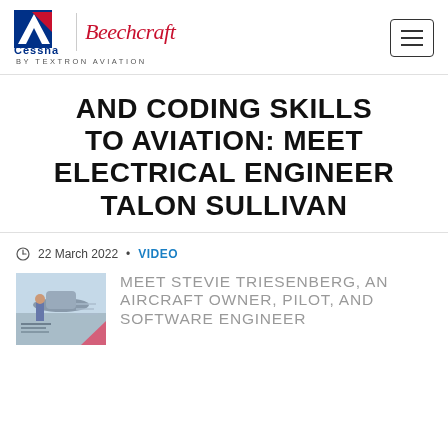Cessna | Beechcraft BY TEXTRON AVIATION
AND CODING SKILLS TO AVIATION: MEET ELECTRICAL ENGINEER TALON SULLIVAN
22 March 2022 • VIDEO
[Figure (photo): Thumbnail image of a related article featuring a person near an aircraft, pink accent triangle in corner]
MEET STEVIE TRIESENBERG, AN AIRCRAFT OWNER, PILOT, AND SOFTWARE ENGINEER